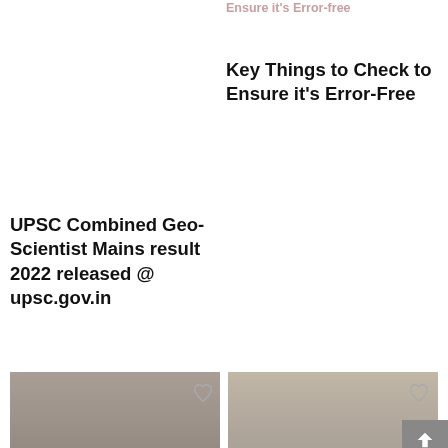Ensure it's Error-free
Key Things to Check to Ensure it's Error-Free
UPSC Combined Geo-Scientist Mains result 2022 released @ upsc.gov.in
[Figure (photo): A student in dark hoodie studying at a desk indoors]
[Figure (photo): Group of students standing together in a corridor]
TS EAMCET Counselling 2022 for M.P.C stream starts today @tseamcet.nic.in, check details here
IIT Patna is Offering New Courses in Computer Science, Business Management Mapped With Industry Demand